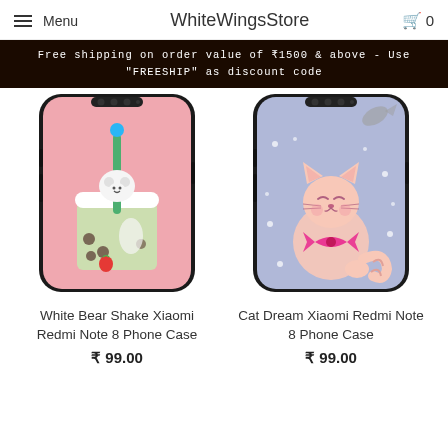Menu | WhiteWingsStore | Cart 0
Free shipping on order value of ₹1500 & above - Use "FREESHIP" as discount code
[Figure (photo): White Bear Shake Xiaomi Redmi Note 8 Phone Case - pink phone case with cartoon bear in a boba tea drink illustration]
White Bear Shake Xiaomi Redmi Note 8 Phone Case
₹ 99.00
[Figure (photo): Cat Dream Xiaomi Redmi Note 8 Phone Case - purple/lavender phone case with cute cartoon cat and fish illustration]
Cat Dream Xiaomi Redmi Note 8 Phone Case
₹ 99.00